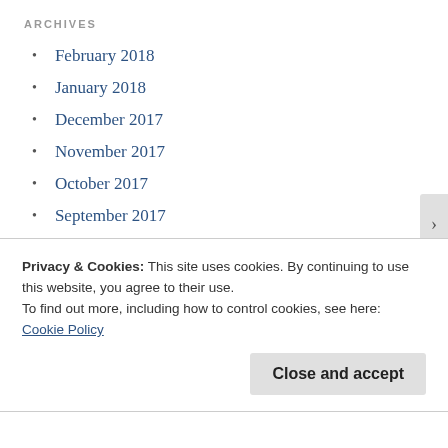ARCHIVES
February 2018
January 2018
December 2017
November 2017
October 2017
September 2017
August 2017
July 2017
June 2017
Privacy & Cookies: This site uses cookies. By continuing to use this website, you agree to their use.
To find out more, including how to control cookies, see here: Cookie Policy